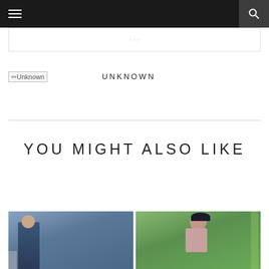Navigation bar with menu and search icons
[partial page text bar]
[Figure (photo): Author avatar placeholder image labeled 'Unknown']
UNKNOWN
YOU MIGHT ALSO LIKE
[Figure (photo): Two thumbnail images side by side: left shows a man in blue outdoors, right shows a woman with dark hair and red lips in front of green foliage]